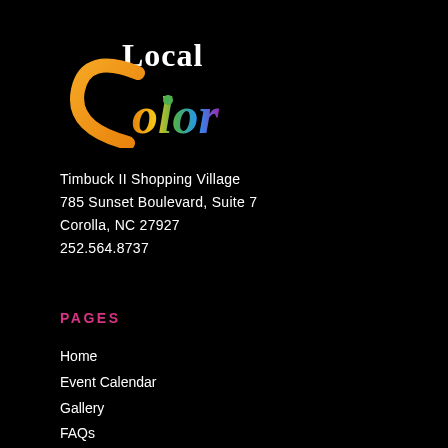[Figure (logo): Local Color logo with colorful hand-lettered 'Color' text in rainbow gradient and white 'Local' text above]
Timbuck II Shopping Village
785 Sunset Boulevard, Suite 7
Corolla, NC 27927
252.564.8737
PAGES
Home
Event Calendar
Gallery
FAQs
News
Terms of Use
Contact